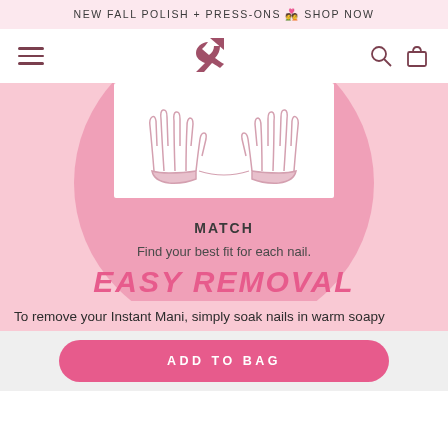NEW FALL POLISH + PRESS-ONS 💅 SHOP NOW
[Figure (logo): Ampersand-style brand logo in mauve/dark pink]
[Figure (illustration): Two hands illustration showing nails, inside a white rectangle on a pink circle background]
MATCH
Find your best fit for each nail.
EASY REMOVAL
To remove your Instant Mani, simply soak nails in warm soapy
ADD TO BAG